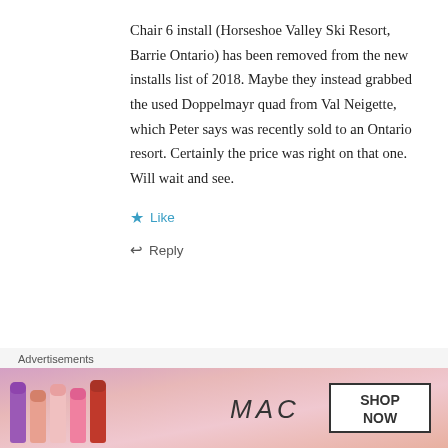Chair 6 install (Horseshoe Valley Ski Resort, Barrie Ontario) has been removed from the new installs list of 2018. Maybe they instead grabbed the used Doppelmayr quad from Val Neigette, which Peter says was recently sold to an Ontario resort. Certainly the price was right on that one. Will wait and see.
★ Like
↩ Reply
PETER LANDSMAN
May 21, 2018 / 6:20 am
[Figure (photo): Profile photo of Peter Landsman in a red jacket]
Advertisements
[Figure (photo): MAC Cosmetics advertisement banner with lipsticks and SHOP NOW text]